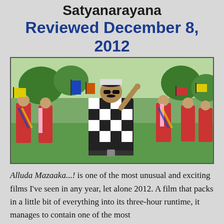Satyanarayana
Reviewed December 8, 2012
[Figure (photo): A movie still from Alluda Mazaaka...! showing a man in a black and white checkered outfit with sunglasses and a cap, surrounded by dancers in colorful costumes holding colored flags, outdoors.]
Alluda Mazaaka...! is one of the most unusual and exciting films I've seen in any year, let alone 2012. A film that packs in a little bit of everything into its three-hour runtime, it manages to contain one of the most